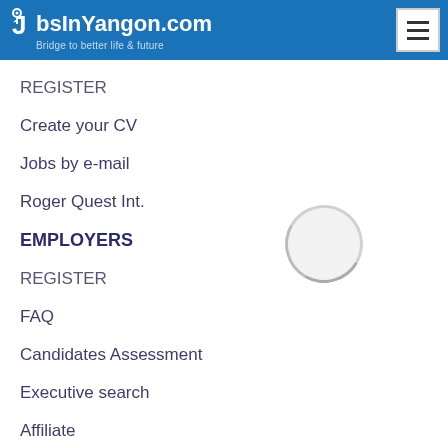JobsInYangon.com — Bridge to better life & future
REGISTER
Create your CV
Jobs by e-mail
Roger Quest Int.
EMPLOYERS
REGISTER
FAQ
Candidates Assessment
Executive search
Affiliate
Advertising
MyJoboo
Yangonjobseeker
Myanmar Expatiobs